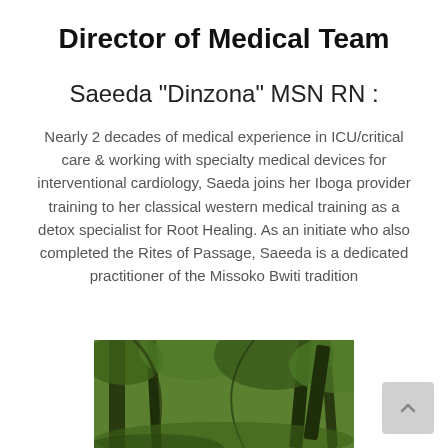Director of Medical Team
Saeeda "Dinzona" MSN RN :
Nearly 2 decades of medical experience in ICU/critical care & working with specialty medical devices for interventional cardiology, Saeda joins her Iboga provider training to her classical western medical training as a detox specialist for Root Healing. As an initiate who also completed the Rites of Passage, Saeeda is a dedicated practitioner of the Missoko Bwiti tradition
[Figure (photo): A forest scene with dense green tropical vegetation and trees]